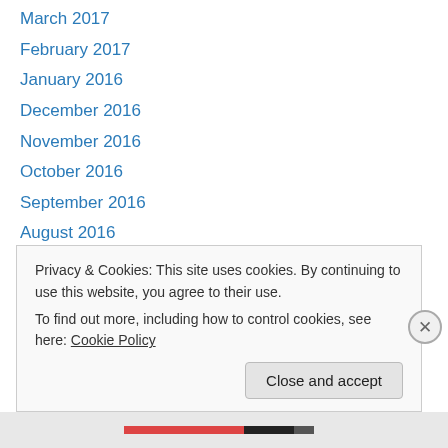March 2017
February 2017
January 2016
December 2016
November 2016
October 2016
September 2016
August 2016
July 2016
May 2016
April 2016
March 2016
December 2015
Privacy & Cookies: This site uses cookies. By continuing to use this website, you agree to their use.
To find out more, including how to control cookies, see here: Cookie Policy
Close and accept